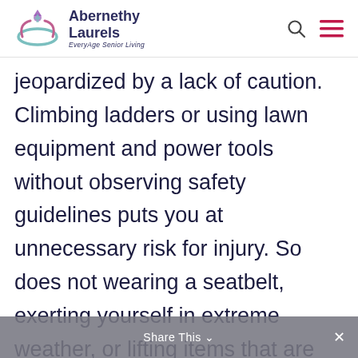Abernethy Laurels EveryAge Senior Living
jeopardized by a lack of caution. Climbing ladders or using lawn equipment and power tools without observing safety guidelines puts you at unnecessary risk for injury. So does not wearing a seatbelt, exerting yourself in extreme weather, or lifting items that are too heavy or unwieldy. Sure, there are things that need to be done around the house and for fun, but don't
Share This ×